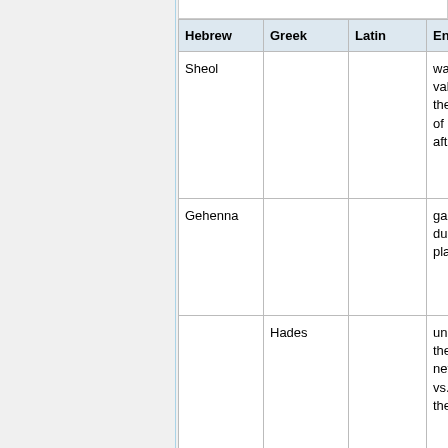| Hebrew | Greek | Latin | English |
| --- | --- | --- | --- |
| Sheol |  |  | waste valley the sh of dea afterli |
| Gehenna |  |  | garba dump place |
|  | Hades |  | under the nethe vs. re the G |
|  | Tartaros |  | Tarta lowes |